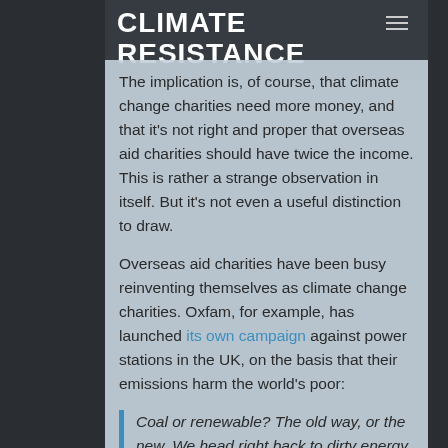CLIMATE RESISTANCE
The implication is, of course, that climate change charities need more money, and that it's not right and proper that overseas aid charities should have twice the income. This is rather a strange observation in itself. But it's not even a useful distinction to draw.
Overseas aid charities have been busy reinventing themselves as climate change charities. Oxfam, for example, has launched its own campaign against power stations in the UK, on the basis that their emissions harm the world's poor:
Coal or renewable? The old way, or the new. We head right back to dirty energy with E.ON's Kingsnorth. We destroy our chances of avoiding a climate catastrophe and let climate change push poor people deeper into poverty. Or we innovate and start a clean energy revolution. Now is the